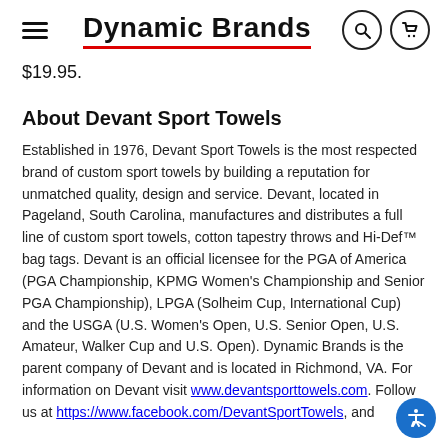Dynamic Brands
$19.95.
About Devant Sport Towels
Established in 1976, Devant Sport Towels is the most respected brand of custom sport towels by building a reputation for unmatched quality, design and service. Devant, located in Pageland, South Carolina, manufactures and distributes a full line of custom sport towels, cotton tapestry throws and Hi-Def™ bag tags. Devant is an official licensee for the PGA of America (PGA Championship, KPMG Women's Championship and Senior PGA Championship), LPGA (Solheim Cup, International Cup) and the USGA (U.S. Women's Open, U.S. Senior Open, U.S. Amateur, Walker Cup and U.S. Open). Dynamic Brands is the parent company of Devant and is located in Richmond, VA. For information on Devant visit www.devantsporttowels.com. Follow us at https://www.facebook.com/DevantSportTowels, and